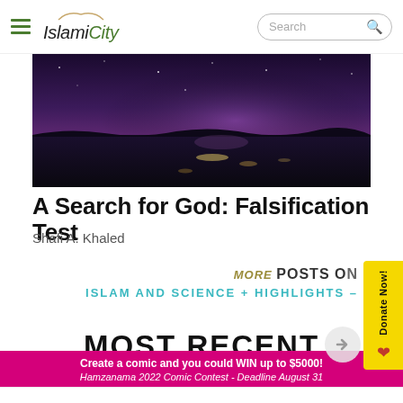IslamiCity — Search bar navigation header
[Figure (photo): Dark purple/blue night sky with illuminated coastline or salt flats reflecting light, dramatic atmospheric scene]
A Search for God: Falsification Test
Shafi A. Khaled
MORE POSTS ON ISLAM AND SCIENCE + HIGHLIGHTS
[Figure (other): Donate Now button with yellow background and red heart icon]
MOST RECENT
Create a comic and you could WIN up to $5000!
Hamzanama 2022 Comic Contest - Deadline August 31